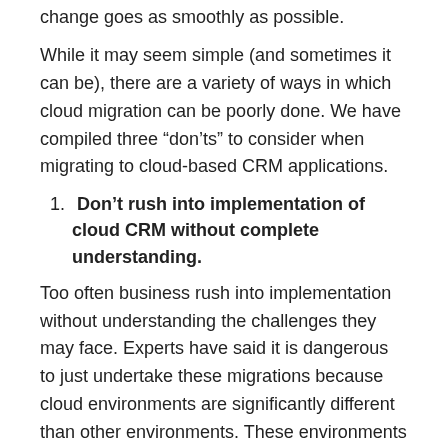change goes as smoothly as possible.
While it may seem simple (and sometimes it can be), there are a variety of ways in which cloud migration can be poorly done. We have compiled three “don’ts” to consider when migrating to cloud-based CRM applications.
Don’t rush into implementation of cloud CRM without complete understanding.
Too often business rush into implementation without understanding the challenges they may face. Experts have said it is dangerous to just undertake these migrations because cloud environments are significantly different than other environments. These environments are not always the same quality vendor to vendor.